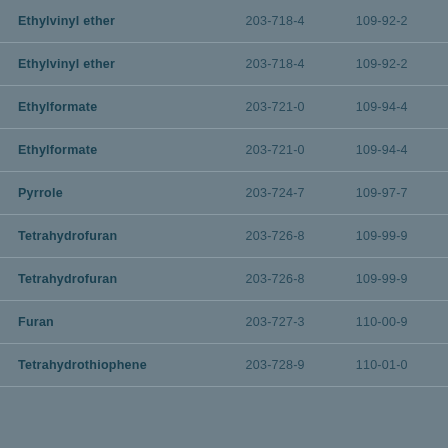| Name | EC Number | CAS Number |
| --- | --- | --- |
| Ethylvinyl ether | 203-718-4 | 109-92-2 |
| Ethylvinyl ether | 203-718-4 | 109-92-2 |
| Ethylformate | 203-721-0 | 109-94-4 |
| Ethylformate | 203-721-0 | 109-94-4 |
| Pyrrole | 203-724-7 | 109-97-7 |
| Tetrahydrofuran | 203-726-8 | 109-99-9 |
| Tetrahydrofuran | 203-726-8 | 109-99-9 |
| Furan | 203-727-3 | 110-00-9 |
| Tetrahydrothiophene | 203-728-9 | 110-01-0 |